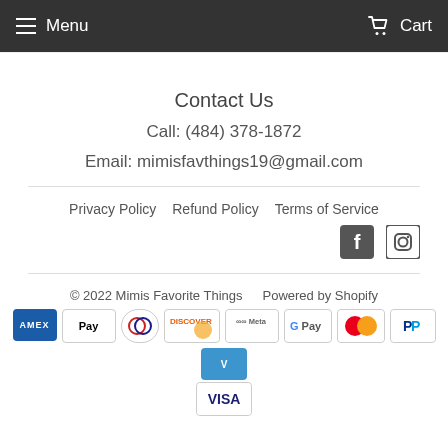Menu  Cart
Contact Us
Call: (484) 378-1872
Email: mimisfavthings19@gmail.com
Privacy Policy   Refund Policy   Terms of Service
[Figure (logo): Facebook and Instagram social media icons]
© 2022 Mimis Favorite Things   Powered by Shopify
[Figure (infographic): Payment method icons: Amex, Apple Pay, Diners, Discover, Meta, Google Pay, Mastercard, PayPal, Venmo, Visa]